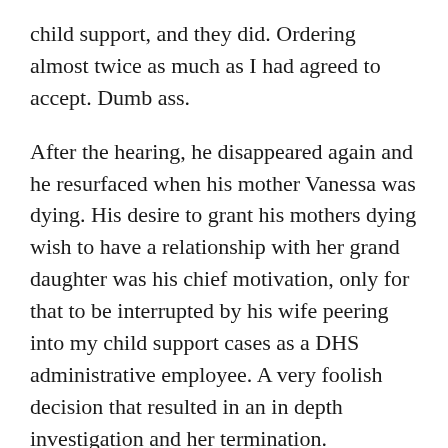child support, and they did. Ordering almost twice as much as I had agreed to accept. Dumb ass.
After the hearing, he disappeared again and he resurfaced when his mother Vanessa was dying. His desire to grant his mothers dying wish to have a relationship with her grand daughter was his chief motivation, only for that to be interrupted by his wife peering into my child support cases as a DHS administrative employee. A very foolish decision that resulted in an in depth investigation and her termination.